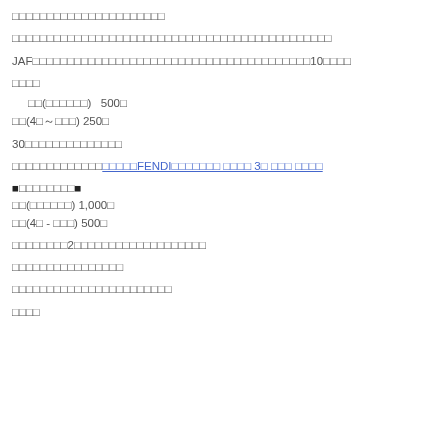□□□□□□□□□□□□□□□□□□□□□□
□□□□□□□□□□□□□□□□□□□□□□□□□□□□□□□□□□□□□□□□□□□□□□
JAF□□□□□□□□□□□□□□□□□□□□□□□□□□□□□□□□□□□□□□□□10□□□□
□□□□
□□(□□□□□□)　500□
□□(4□～□□□) 250□
30□□□□□□□□□□□□□□
□□□□□□□□□□□□□FENDI□□□□□□□ □□□□ 3□ □□□ □□□□
■□□□□□□□□■
□□(□□□□□□) 1,000□
□□(4□ - □□□) 500□
□□□□□□□□2□□□□□□□□□□□□□□□□□□□
□□□□□□□□□□□□□□□□
□□□□□□□□□□□□□□□□□□□□□□□
□□□□